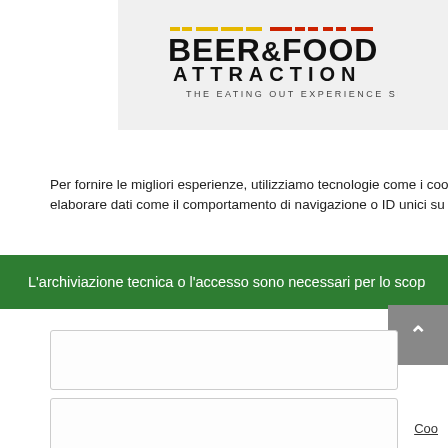[Figure (logo): Beer & Food Attraction logo — THE EATING OUT EXPERIENCE SHOW — on a light grey background]
Per fornire le migliori esperienze, utilizziamo tecnologie come i cookie per m elaborare dati come il comportamento di navigazione o ID unici su questo s
L'archiviazione tecnica o l'accesso sono necessari per lo scop
Coo